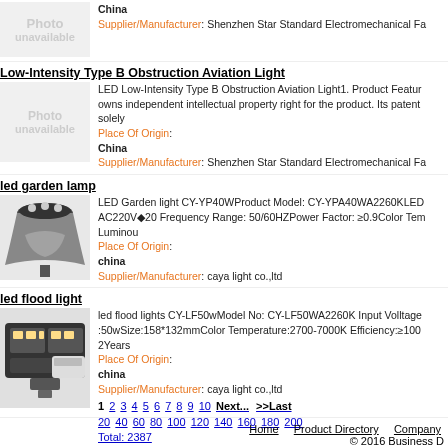China Supplier/Manufacturer: Shenzhen Star Standard Electromechanical Fa
Low-Intensity Type B Obstruction Aviation Light
LED Low-Intensity Type B Obstruction Aviation Light1. Product Feature owns independent intellectual property right for the product. Its patent solely Place Of Origin: China Supplier/Manufacturer: Shenzhen Star Standard Electromechanical Fa
led garden lamp
LED Garden light CY-YP40WProduct Model: CY-YPA40WA2260KLED AC220V◆20 Frequency Range: 50/60HZPower Factor: 0.9Color Tem Luminou Place Of Origin: china Supplier/Manufacturer: caya light co.,ltd
led flood light
led flood lights CY-LF50wModel No: CY-LF50WA2260K Input Volltage :50wSize:158*132mmColor Temperature:2700-7000K Efficiency:≥100 2Years Place Of Origin: china Supplier/Manufacturer: caya light co.,ltd
1 2 3 4 5 6 7 8 9 10 Next... >>Last 20 40 60 80 100 120 140 160 180 200 Total: 2387
Home Product Directory Company © 2016 Business D